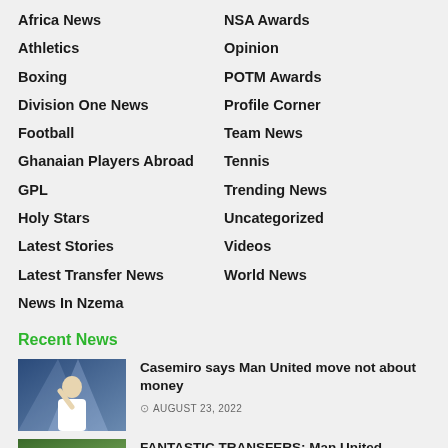Africa News
Athletics
Boxing
Division One News
Football
Ghanaian Players Abroad
GPL
Holy Stars
Latest Stories
Latest Transfer News
News In Nzema
NSA Awards
Opinion
POTM Awards
Profile Corner
Team News
Tennis
Trending News
Uncategorized
Videos
World News
Recent News
Casemiro says Man United move not about money
AUGUST 23, 2022
FANTASTIC TRANSFERS: Man United apparently...